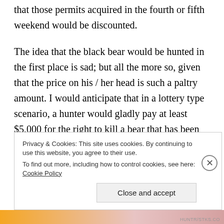that those permits acquired in the fourth or fifth weekend would be discounted.
The idea that the black bear would be hunted in the first place is sad; but all the more so, given that the price on his / her head is such a paltry amount. I would anticipate that in a lottery type scenario, a hunter would gladly pay at least $5,000 for the right to kill a bear that has been protected for the past 20 years. At that price, the State may have raised $10 million in revenue. But,
Privacy & Cookies: This site uses cookies. By continuing to use this website, you agree to their use.
To find out more, including how to control cookies, see here: Cookie Policy

Close and accept